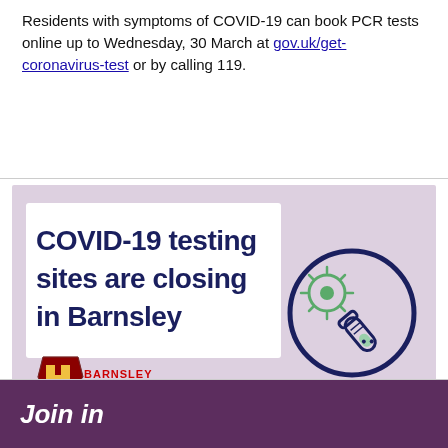Residents with symptoms of COVID-19 can book PCR tests online up to Wednesday, 30 March at gov.uk/get-coronavirus-test or by calling 119.
[Figure (infographic): Infographic with lavender background showing 'COVID-19 testing sites are closing in Barnsley' in bold dark navy text on a white panel, with a circular icon of a COVID virus and test tube on the right, and the Barnsley Metropolitan Borough Council logo at the bottom left.]
Join in